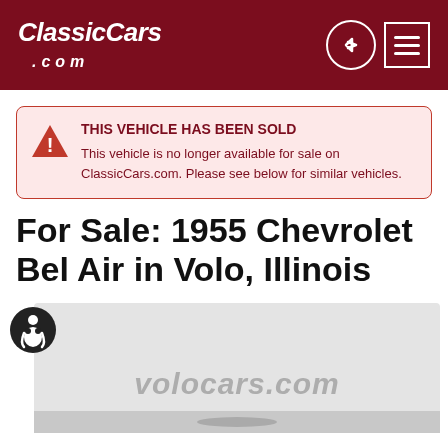ClassicCars.com
THIS VEHICLE HAS BEEN SOLD
This vehicle is no longer available for sale on ClassicCars.com. Please see below for similar vehicles.
For Sale: 1955 Chevrolet Bel Air in Volo, Illinois
[Figure (photo): Partial view of a classic car listing image with volocars.com watermark visible]